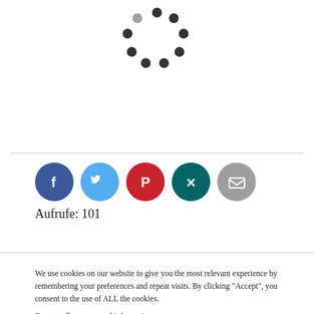[Figure (other): Loading spinner dots arranged in a circle pattern]
[Figure (other): Social media share icons: Facebook (dark blue), Twitter (light blue), Pinterest (red), Xing (teal), Email (gray)]
Aufrufe: 101
We use cookies on our website to give you the most relevant experience by remembering your preferences and repeat visits. By clicking “Accept”, you consent to the use of ALL the cookies.
Do not sell my personal information.
Cookie Settings
Accept